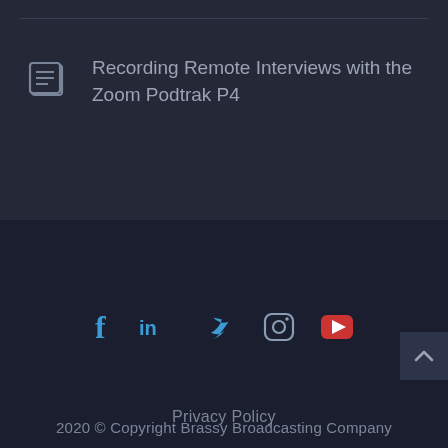Recording Remote Interviews with the Zoom Podtrak P4
[Figure (infographic): Social media icons row: Facebook (f), LinkedIn (in), Twitter bird, Instagram camera, YouTube play button]
Privacy Policy
2020 © Copyright Brassy Broadcasting Company